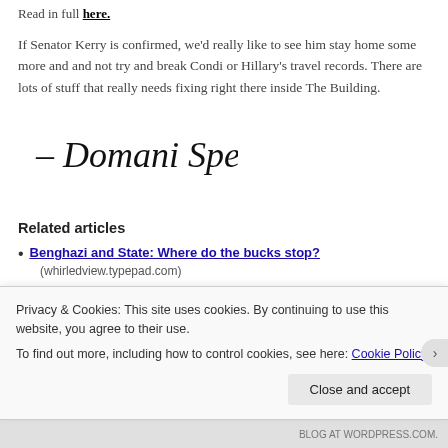Read in full here.
If Senator Kerry is confirmed, we’d really like to see him stay home some more and and not try and break Condi or Hillary’s travel records. There are lots of stuff that really needs fixing right there inside The Building.
[Figure (illustration): Handwritten cursive signature reading '- Domani Spero']
Related articles
Benghazi and State: Where do the bucks stop? (whirledview.typepad.com)
Privacy & Cookies: This site uses cookies. By continuing to use this website, you agree to their use. To find out more, including how to control cookies, see here: Cookie Policy
Close and accept